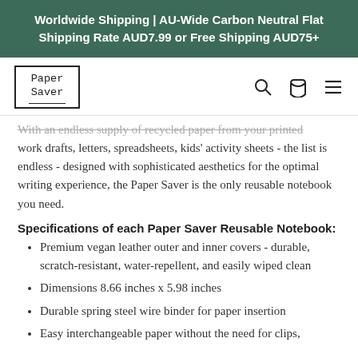Worldwide Shipping | AU-Wide Carbon Neutral Flat Shipping Rate AUD7.99 or Free Shipping AUD75+
[Figure (logo): Paper Saver logo in a bordered box with serif/monospace lettering]
With an endless supply of recycled paper from your printed work drafts, letters, spreadsheets, kids' activity sheets - the list is endless - designed with sophisticated aesthetics for the optimal writing experience, the Paper Saver is the only reusable notebook you need.
Specifications of each Paper Saver Reusable Notebook:
Premium vegan leather outer and inner covers  - durable, scratch-resistant, water-repellent, and easily wiped clean
Dimensions 8.66 inches x 5.98 inches
Durable spring steel wire binder for paper insertion
Easy interchangeable paper without the need for clips,